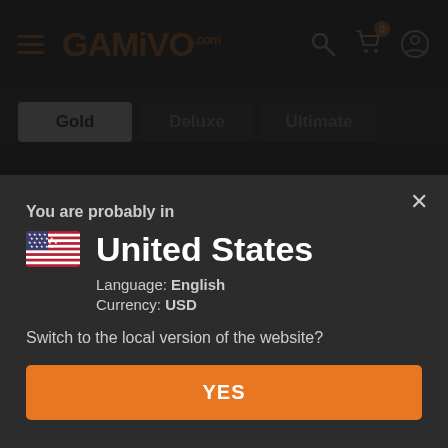[Figure (logo): GAMIVO.com logo in orange with hamburger menu icon on the left and search, cart (badge:0), and user icons on the right]
Gold | Deluxe | Ultimate (edition tabs, Gold selected/active)
PLATFORM
You are probably in
United States
Language: English
Currency: USD
Switch to the local version of the website?
YES